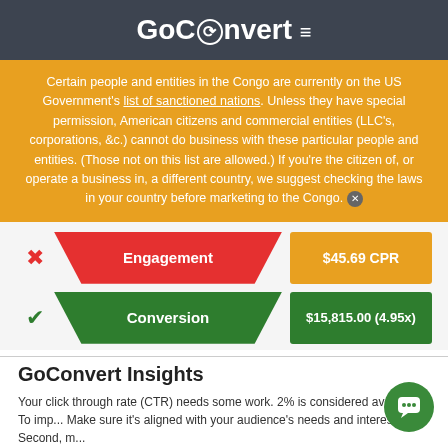GoConvert ≡
Certain people and entities in the Congo are currently on the US Government's list of sanctioned nations. Unless they have special permission, American citizens and commercial entities (LLC's, corporations, &c.) cannot do business with these particular people and entities. (Those not on this list are allowed.) If you're the citizen of, or operate a business in, a different country, we suggest checking the laws in your country before marketing to the Congo. ✕
[Figure (infographic): Funnel diagram showing Engagement row with red X icon, red trapezoid labeled Engagement, orange box showing $45.69 CPR; and Conversion row with green checkmark, green trapezoid labeled Conversion, dark green box showing $15,815.00 (4.95x)]
GoConvert Insights
Your click through rate (CTR) needs some work. 2% is considered average. To imp... Make sure it's aligned with your audience's needs and interests. Second, m...
You also aren't converting visitors into relationships. If Interest and CPC a... sure your landing page isn't loading slowly, that the content is relevant to y... devices, and that all important features appear above the fold. If Interest and CPC...